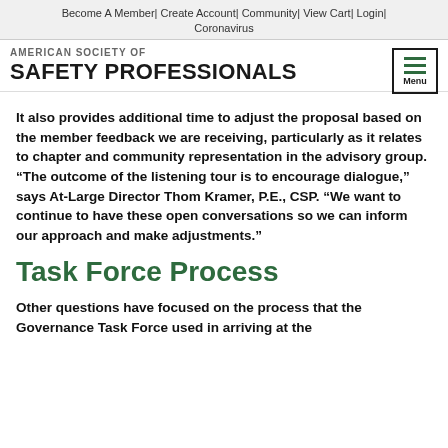Become A Member | Create Account | Community | View Cart | Login | Coronavirus
AMERICAN SOCIETY OF SAFETY PROFESSIONALS
It also provides additional time to adjust the proposal based on the member feedback we are receiving, particularly as it relates to chapter and community representation in the advisory group. “The outcome of the listening tour is to encourage dialogue,” says At-Large Director Thom Kramer, P.E., CSP. “We want to continue to have these open conversations so we can inform our approach and make adjustments.”
Task Force Process
Other questions have focused on the process that the Governance Task Force used in arriving at the